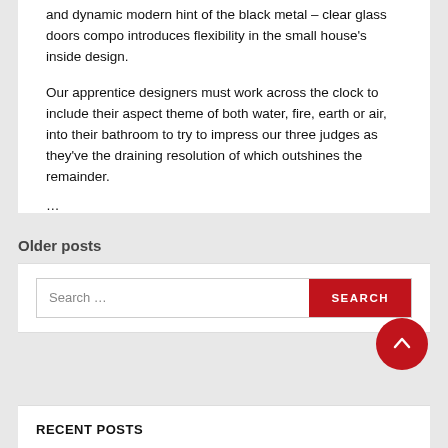and dynamic modern hint of the black metal – clear glass doors compo introduces flexibility in the small house's inside design.
Our apprentice designers must work across the clock to include their aspect theme of both water, fire, earth or air, into their bathroom to try to impress our three judges as they've the draining resolution of which outshines the remainder.
…
Older posts
Search …
RECENT POSTS